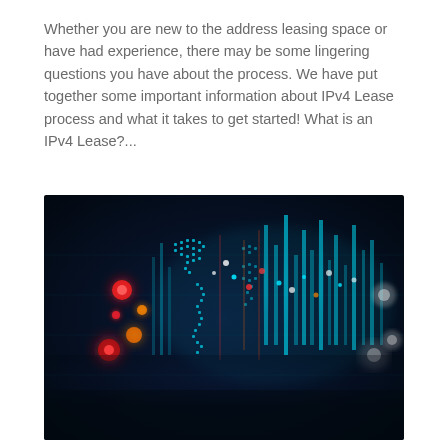Whether you are new to the address leasing space or have had experience, there may be some lingering questions you have about the process. We have put together some important information about IPv4 Lease process and what it takes to get started! What is an IPv4 Lease?...
[Figure (photo): Digital world map visualization with glowing cyan/teal illuminated continents and vertical bar chart-like data beams rising from various locations, with red and orange glowing dots scattered across the dark navy background, representing network or data activity across the globe.]